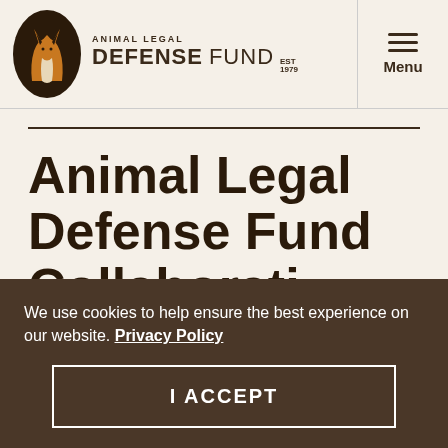[Figure (logo): Animal Legal Defense Fund logo with fox/wolf graphic icon and text 'ANIMAL LEGAL DEFENSE FUND EST 1979']
Animal Legal Defense Fund Collaboration
We use cookies to help ensure the best experience on our website. Privacy Policy
I ACCEPT